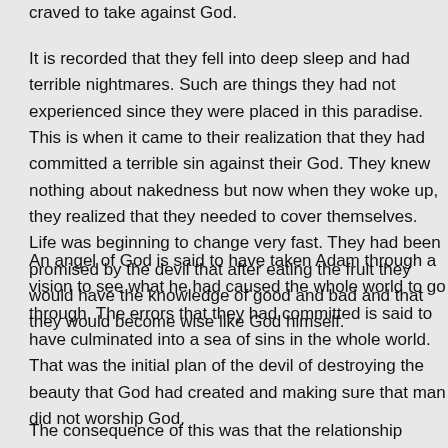craved to take against God.
It is recorded that they fell into deep sleep and had terrible nightmares. Such are things they had not experienced since they were placed in this paradise. This is when it came to their realization that they had committed a terrible sin against their God. They knew nothing about nakedness but now when they woke up, they realized that they needed to cover themselves. Life was beginning to change very fast. They had been promised by the devil that after eating the fruit they would have the knowledge of good and bad and that they would become wise like God himself.
An angel of God is said to have taken Adam through a vision to see what he had caused the whole world to go through. The errors that they had committed is said to have culminated into a sea of sins in the whole world. That was the initial plan of the devil of destroying the beauty that God had created and making sure that man did not worship God.
The consequence of this was that the relationship between Adam